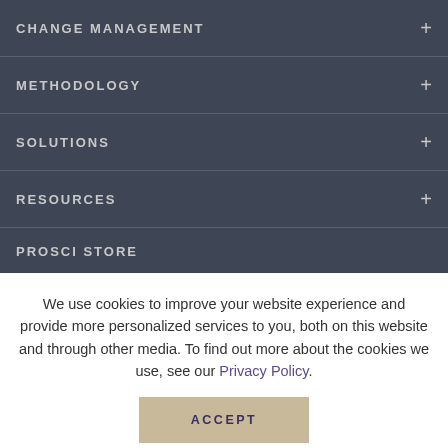CHANGE MANAGEMENT
METHODOLOGY
SOLUTIONS
RESOURCES
PROSCI STORE
We use cookies to improve your website experience and provide more personalized services to you, both on this website and through other media. To find out more about the cookies we use, see our Privacy Policy.
ACCEPT